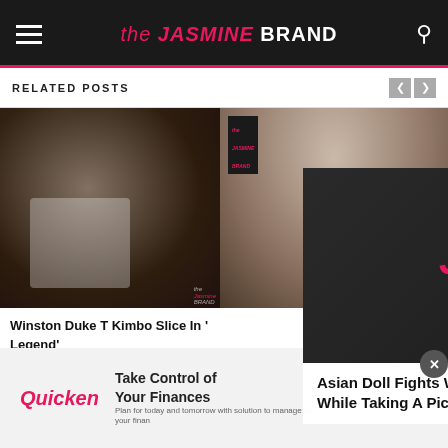the JASMINE BRAND
RELATED POSTS
[Figure (photo): Fighter in boxing stance, man with beard and headband in white tank top]
[Figure (photo): Person in casual outfit, video overlay with the Jasmine Brand logo]
[Figure (photo): Woman with blonde hair, related post thumbnail]
Winston Duke T Kimbo Slice In ' Legend'
Asian Doll Fights Woman Who Tries To Steal Her Chain While Taking A Picture [VIDEO] - the...
[Figure (logo): Quicken advertisement logo]
Take Control of Your Finances
Plan for today and tomorrow with solution to manage all your finan